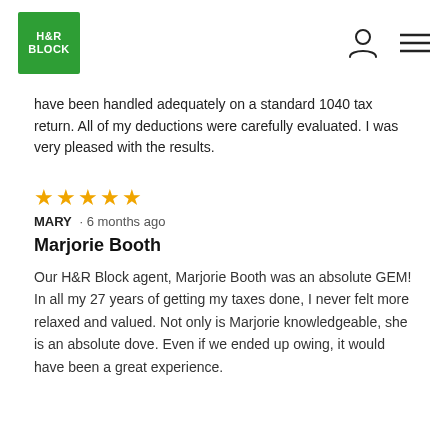H&R Block
have been handled adequately on a standard 1040 tax return. All of my deductions were carefully evaluated. I was very pleased with the results.
★★★★★
MARY · 6 months ago
Marjorie Booth
Our H&R Block agent, Marjorie Booth was an absolute GEM! In all my 27 years of getting my taxes done, I never felt more relaxed and valued. Not only is Marjorie knowledgeable, she is an absolute dove. Even if we ended up owing, it would have been a great experience.